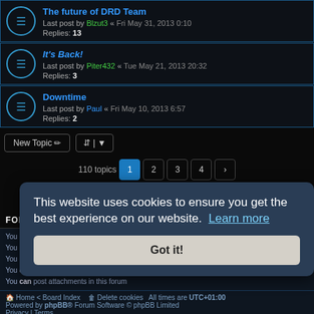The future of DRD Team — Last post by Blzut3 « Fri May 31, 2013 0:10 — Replies: 13
It's Back! — Last post by Piter432 « Tue May 21, 2013 20:32 — Replies: 3
Downtime — Last post by Paul « Fri May 10, 2013 6:57 — Replies: 2
New Topic  |  110 topics  1 2 3 4 >
Jump to
FORUM PERMISSIONS
You cannot post new topics in this forum
You can reply to topics in this forum
You cannot edit your posts in this forum
You cannot delete your posts in this forum
You can post attachments in this forum
Home < Board Index   Delete cookies   All times are UTC+01:00
Powered by phpBB® Forum Software © phpBB Limited
Privacy | Terms
This website uses cookies to ensure you get the best experience on our website. Learn more
Got it!